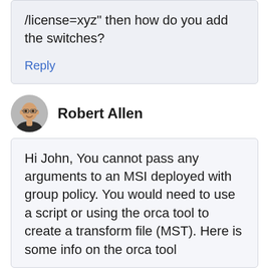/license=xyz” then how do you add the switches?
Reply
[Figure (photo): Circular avatar photo of Robert Allen, a bald man with glasses and a black jacket, smiling]
Robert Allen
Hi John, You cannot pass any arguments to an MSI deployed with group policy. You would need to use a script or using the orca tool to create a transform file (MST). Here is some info on the orca tool